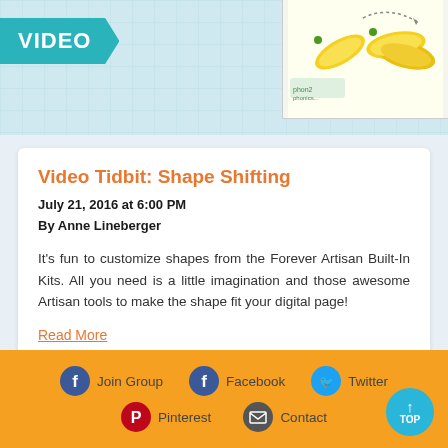[Figure (screenshot): Top banner with teal VIDEO badge and banana illustration thumbnail]
Video Tidbit: Shape Shifting
July 21, 2016 at 6:00 PM
By Anne Lineberger
It's fun to customize shapes from the Forever Artisan Built-In Kits. All you need is a little imagination and those awesome Artisan tools to make the shape fit your digital page!
Read More
You've reached the end. 11 total posts shown.
Join Group   Facebook   Twitter   Pinterest   Contact